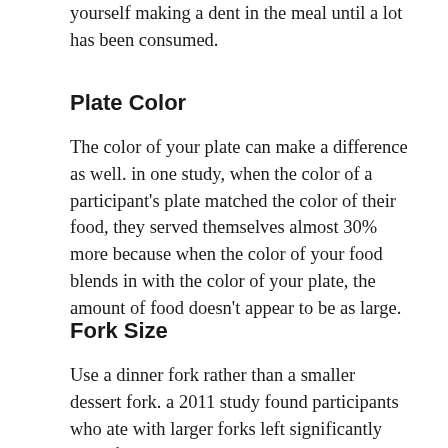yourself making a dent in the meal until a lot has been consumed.
Plate Color
The color of your plate can make a difference as well. in one study, when the color of a participant's plate matched the color of their food, they served themselves almost 30% more because when the color of your food blends in with the color of your plate, the amount of food doesn't appear to be as large.
Fork Size
Use a dinner fork rather than a smaller dessert fork. a 2011 study found participants who ate with larger forks left significantly more food on